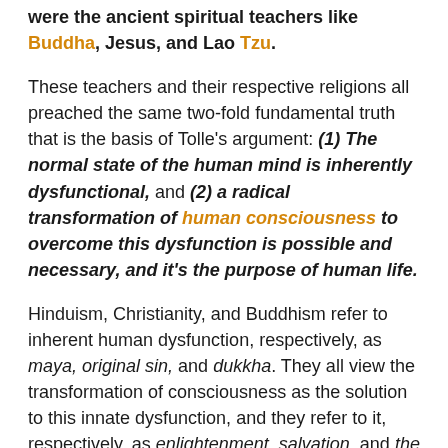were the ancient spiritual teachers like Buddha, Jesus, and Lao Tzu.
These teachers and their respective religions all preached the same two-fold fundamental truth that is the basis of Tolle's argument: (1) The normal state of the human mind is inherently dysfunctional, and (2) a radical transformation of human consciousness to overcome this dysfunction is possible and necessary, and it's the purpose of human life.
Hinduism, Christianity, and Buddhism refer to inherent human dysfunction, respectively, as maya, original sin, and dukkha. They all view the transformation of consciousness as the solution to this innate dysfunction, and they refer to it, respectively, as enlightenment, salvation, and the end of suffering.
The teachers who founded these religions embodied the evolved state of consciousness that the rest of humanity needs to achieve, and they encouraged